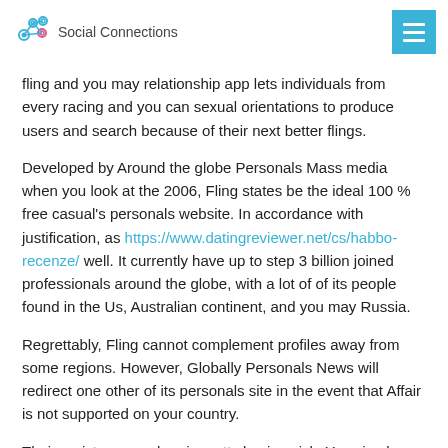Social Connections
fling and you may relationship app lets individuals from every racing and you can sexual orientations to produce users and search because of their next better flings.
Developed by Around the globe Personals Mass media when you look at the 2006, Fling states be the ideal 100 % free casual's personals website. In accordance with justification, as https://www.datingreviewer.net/cs/habbo-recenze/ well. It currently have up to step 3 billion joined professionals around the globe, with a lot of of its people found in the Us, Australian continent, and you may Russia.
Regrettably, Fling cannot complement profiles away from some regions. However, Globally Personals News will redirect one other of its personals site in the event that Affair is not supported on your country.
Their register procedure is pretty basic quick. You simply enter in their intercourse, popular match gender, years, zip code, email